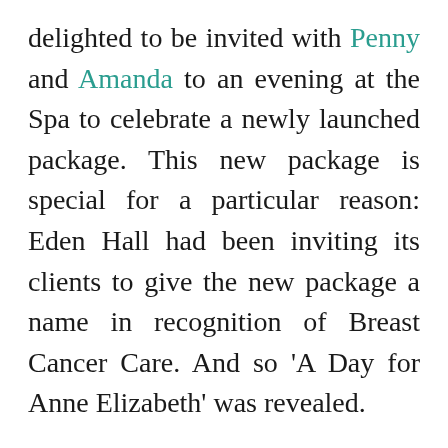delighted to be invited with Penny and Amanda to an evening at the Spa to celebrate a newly launched package. This new package is special for a particular reason: Eden Hall had been inviting its clients to give the new package a name in recognition of Breast Cancer Care. And so ‘A Day for Anne Elizabeth’ was revealed.